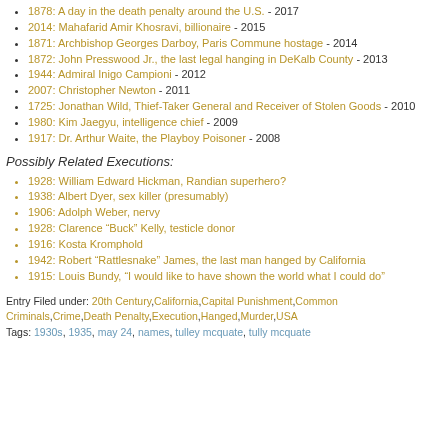1878: A day in the death penalty around the U.S. - 2017
2014: Mahafarid Amir Khosravi, billionaire - 2015
1871: Archbishop Georges Darboy, Paris Commune hostage - 2014
1872: John Presswood Jr., the last legal hanging in DeKalb County - 2013
1944: Admiral Inigo Campioni - 2012
2007: Christopher Newton - 2011
1725: Jonathan Wild, Thief-Taker General and Receiver of Stolen Goods - 2010
1980: Kim Jaegyu, intelligence chief - 2009
1917: Dr. Arthur Waite, the Playboy Poisoner - 2008
Possibly Related Executions:
1928: William Edward Hickman, Randian superhero?
1938: Albert Dyer, sex killer (presumably)
1906: Adolph Weber, nervy
1928: Clarence “Buck” Kelly, testicle donor
1916: Kosta Kromphold
1942: Robert “Rattlesnake” James, the last man hanged by California
1915: Louis Bundy, “I would like to have shown the world what I could do”
Entry Filed under: 20th Century,California,Capital Punishment,Common Criminals,Crime,Death Penalty,Execution,Hanged,Murder,USA
Tags: 1930s, 1935, may 24, names, tulley mcquate, tully mcquate